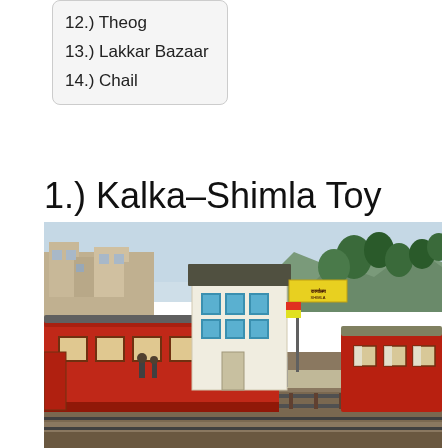12.) Theog
13.) Lakkar Bazaar
14.) Chail
1.) Kalka–Shimla Toy Train
[Figure (photo): A red Kalka-Shimla toy train stopped at a mountain station. The train cars are red with yellow-framed windows. A white station building with blue windows and a grey roof is visible. Green forested hills are in the background. A yellow sign is visible near the station.]